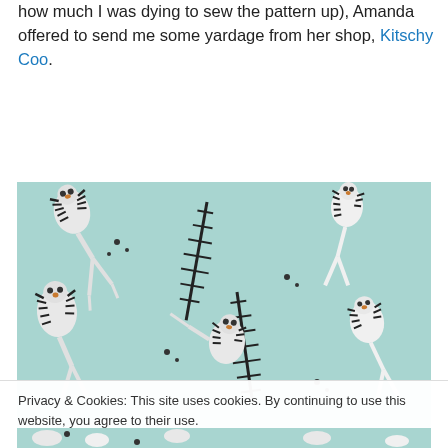how much I was dying to sew the pattern up), Amanda offered to send me some yardage from her shop, Kitschy Coo.
[Figure (photo): Close-up photo of light teal/mint fabric printed with white tigers with black stripes in various poses]
Privacy & Cookies: This site uses cookies. By continuing to use this website, you agree to their use.
To find out more, including how to control cookies, see here: Cookie Policy